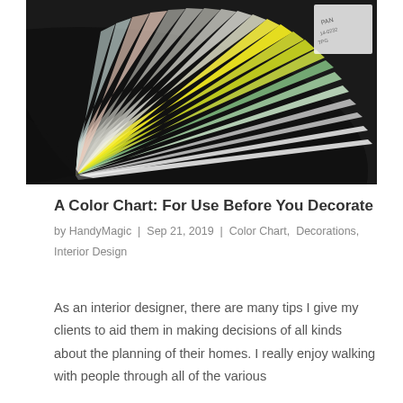[Figure (photo): Close-up photograph of a Pantone color swatch book fan opened out, showing layered color strips in greens, yellows, whites, grays, and pastels with dark background]
A Color Chart: For Use Before You Decorate
by HandyMagic | Sep 21, 2019 | Color Chart, Decorations, Interior Design
As an interior designer, there are many tips I give my clients to aid them in making decisions of all kinds about the planning of their homes. I really enjoy walking with people through all of the various